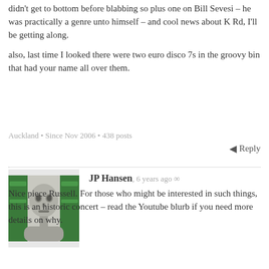didn't get to bottom before blabbing so plus one on Bill Sevesi – he was practically a genre unto himself – and cool news about K Rd, I'll be getting along.
also, last time I looked there were two euro disco 7s in the groovy bin that had your name all over them.
Auckland • Since Nov 2006 • 438 posts
Reply
JP Hansen, 6 years ago ∞
[Figure (photo): Avatar image of JP Hansen, a stylized metallic face with green background]
Nice piece Russell. For those who might be interested in such things, this is an historic concert – read the Youtube blurb if you need more details on why.